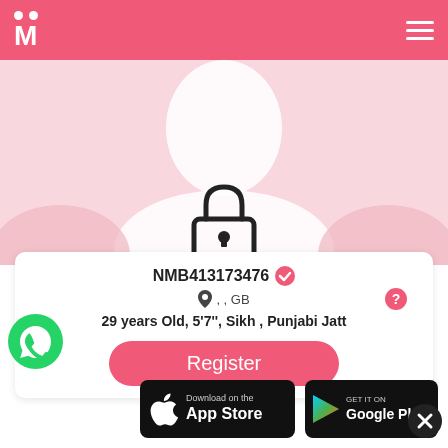M (matrimonial app header with hamburger menu)
[Figure (photo): Blurred/silhouette profile photo with lock icon overlay indicating private profile]
NMB413173476 (verified badge)
, , GB
29 years Old, 5'7'', Sikh , Punjabi Jatt
Register
[Figure (logo): WhatsApp green logo]
[Figure (logo): Download on the App Store button]
[Figure (logo): Get it on Google Play button]